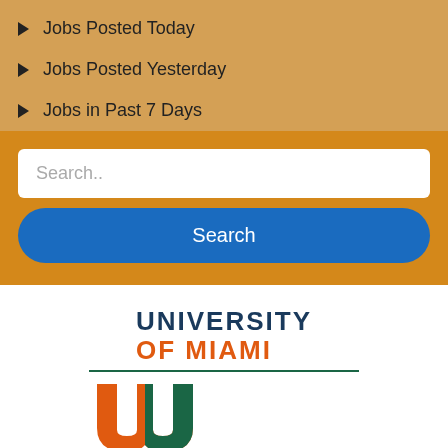Jobs Posted Today
Jobs Posted Yesterday
Jobs in Past 7 Days
[Figure (screenshot): Search bar with placeholder text 'Search..' and a blue rounded 'Search' button on an orange background]
[Figure (logo): University of Miami logo with wordmark 'UNIVERSITY OF MIAMI' and the iconic U logo in orange and green]
Biochemistry &